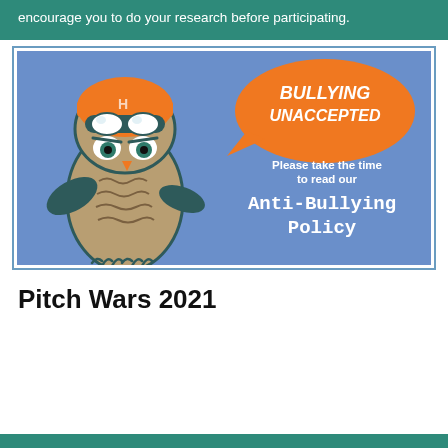encourage you to do your research before participating.
[Figure (illustration): Cartoon owl wearing an orange helmet with goggles, pointing a wing, with an orange speech bubble saying 'BULLYING UNACCEPTED'. Text on the right says 'Please take the time to read our Anti-Bullying Policy'. Image has a blue background with white border.]
Pitch Wars 2021